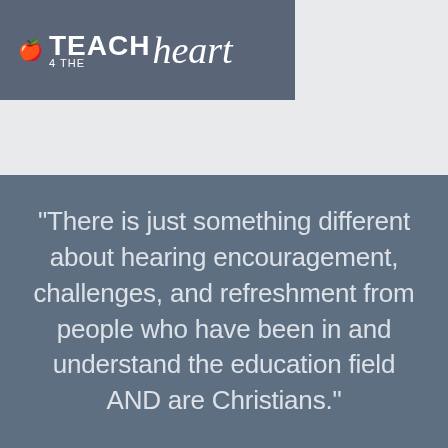[Figure (logo): Teach 4 The Heart logo on dark slate-blue background bar]
"There is just something different about hearing encouragement, challenges, and refreshment from people who have been in and understand the education field AND are Christians."